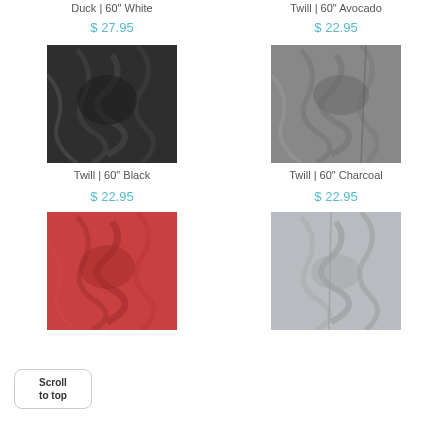Duck | 60" White
Twill | 60" Avocado
$ 27.95
$ 22.95
[Figure (photo): Dark/black twill fabric close-up]
Twill | 60" Black
[Figure (photo): Charcoal grey twill fabric close-up]
Twill | 60" Charcoal
$ 22.95
$ 22.95
[Figure (photo): Red twill fabric close-up with scroll-to-top badge overlay]
[Figure (photo): Silver/light grey twill fabric close-up]
Scroll to top